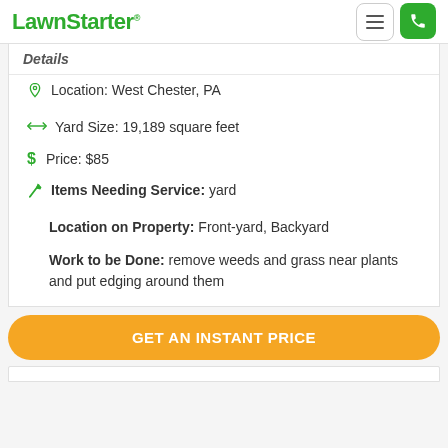LawnStarter
Details
Location: West Chester, PA
Yard Size: 19,189 square feet
Price: $85
Items Needing Service: yard
Location on Property: Front-yard, Backyard
Work to be Done: remove weeds and grass near plants and put edging around them
GET AN INSTANT PRICE